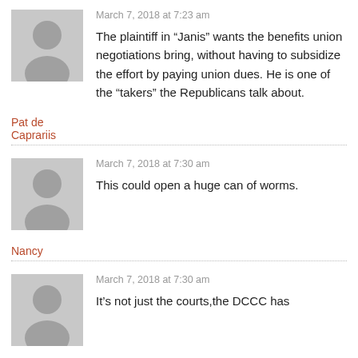March 7, 2018 at 7:23 am
The plaintiff in “Janis” wants the benefits union negotiations bring, without having to subsidize the effort by paying union dues. He is one of the “takers” the Republicans talk about.
Pat de Caprariis
March 7, 2018 at 7:30 am
This could open a huge can of worms.
Nancy
March 7, 2018 at 7:30 am
It’s not just the courts, the DCCC has